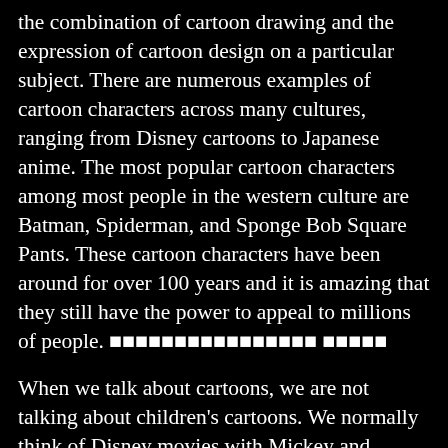the combination of cartoon drawing and the expression of cartoon design on a particular subject. There are numerous examples of cartoon characters across many cultures, ranging from Disney cartoons to Japanese anime. The most popular cartoon characters among most people in the western culture are Batman, Spiderman, and Sponge Bob Square Pants. These cartoon characters have been around for over 100 years and it is amazing that they still have the power to appeal to millions of people. ■■■■■■■■■■■■■■■■ ■■■■■
When we talk about cartoons, we are not talking about children's cartoons. We normally think of Disney movies with Mickey and Minnie Mouse. These are the cartoons where superheroes like Superman, Batman, and Iron Man battle villains such as the Joker, The Hulk, and The Fantastic Four. The Batman comics have also had some popular comic book series including The Dark Knight and The New Batman Adventures.
Other examples of cartoon characters come from the